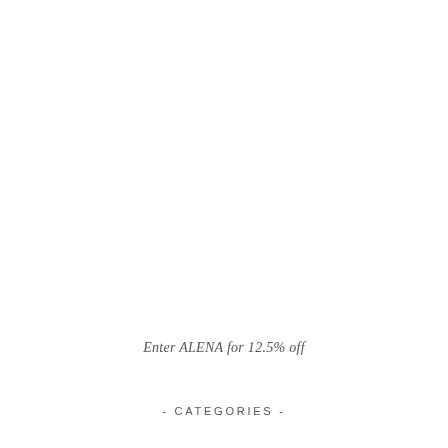Enter ALENA for 12.5% off
- CATEGORIES -